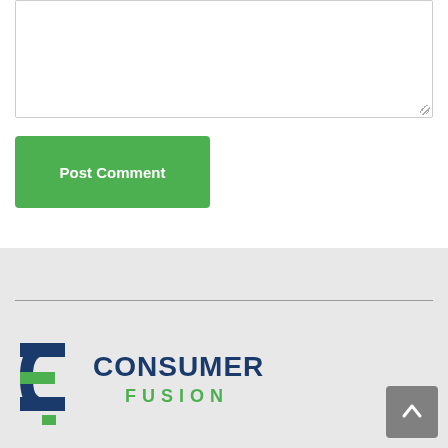[Figure (other): Comment textarea input field with resize handle in bottom-right corner]
Post Comment
[Figure (logo): Consumer Fusion logo with stylized C icon in dark navy blue and green text reading CONSUMER FUSION]
[Figure (other): Back to top button with upward arrow chevron on grey background]